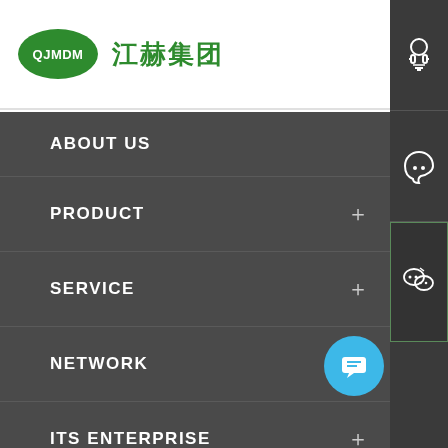[Figure (logo): QJMDM logo with green oval and Chinese text 江赫集团]
ABOUT US
PRODUCT
SERVICE
NETWORK
ITS ENTERPRISE
NEWS CENTER
CONTACT